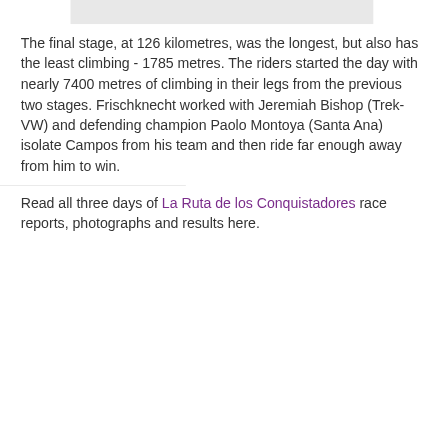[Figure (photo): Gray rectangular image placeholder at top of page]
The final stage, at 126 kilometres, was the longest, but also has the least climbing - 1785 metres. The riders started the day with nearly 7400 metres of climbing in their legs from the previous two stages. Frischknecht worked with Jeremiah Bishop (Trek-VW) and defending champion Paolo Montoya (Santa Ana) isolate Campos from his team and then ride far enough away from him to win.
Read all three days of La Ruta de los Conquistadores race reports, photographs and results here.